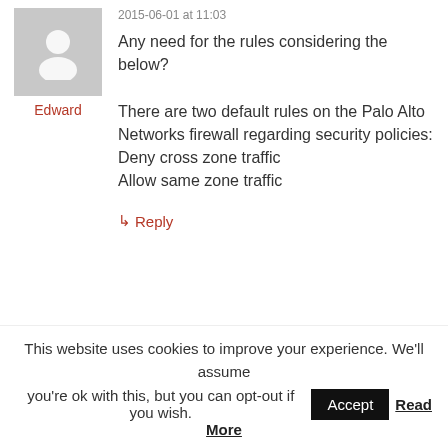2015-06-01 at 11:03
[Figure (illustration): Default gray avatar icon with silhouette of a person]
Edward
Any need for the rules considering the below?

There are two default rules on the Palo Alto Networks firewall regarding security policies:
Deny cross zone traffic
Allow same zone traffic
↳ Reply
This website uses cookies to improve your experience. We'll assume you're ok with this, but you can opt-out if you wish.
Accept
Read More